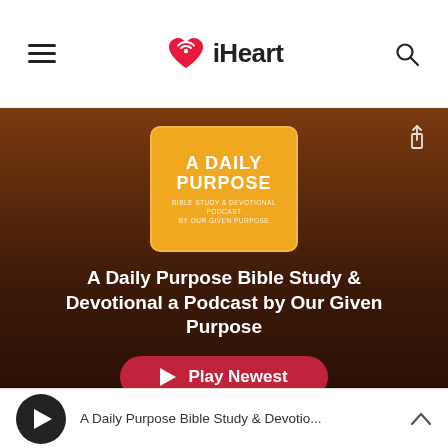[Figure (screenshot): iHeart app navigation bar with hamburger menu, iHeart logo with heart icon, and search icon]
[Figure (screenshot): Hero section with dark brown gradient background showing 'A Daily Purpose' podcast cover art (orange/yellow square), podcast title 'A Daily Purpose Bible Study & Devotional a Podcast by Our Given Purpose', a Play Newest button, and a share icon]
[Figure (screenshot): Bottom player bar showing play button and truncated podcast title 'A Daily Purpose Bible Study & Devotio...' with chevron up icon]